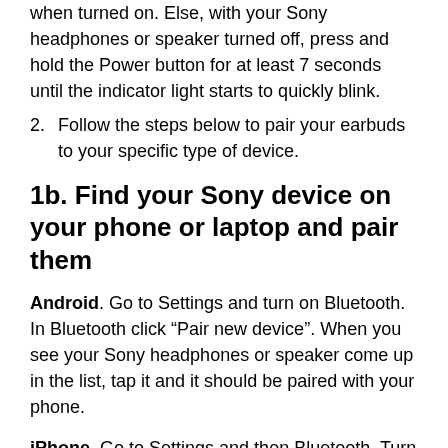when turned on. Else, with your Sony headphones or speaker turned off, press and hold the Power button for at least 7 seconds until the indicator light starts to quickly blink.
2. Follow the steps below to pair your earbuds to your specific type of device.
1b. Find your Sony device on your phone or laptop and pair them
Android. Go to Settings and turn on Bluetooth. In Bluetooth click “Pair new device”. When you see your Sony headphones or speaker come up in the list, tap it and it should be paired with your phone.
iPhone. Go to Settings and then Bluetooth. Turn on Bluetooth. Look for your Sony device under “OTHER DEVICES” and tap on it to connect.
MacOS. On your Mac, choose Apple menu > System Preferences, then click Bluetooth. Select your Sony